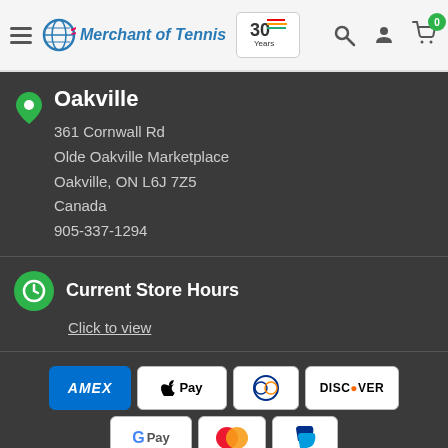[Figure (screenshot): Website header for Merchant of Tennis with logo, 30 Years badge, search icon, user icon, and cart icon with badge showing 0]
Oakville
361 Cornwall Rd
Olde Oakville Marketplace
Oakville, ON L6J 7Z5
Canada
905-337-1294
Current Store Hours
Click to view
[Figure (logo): Payment method icons: AMEX, Apple Pay, Diners Club, Discover, Google Pay, Mastercard, PayPal, O Pay, VISA]
All Prices are in Canadian Currency